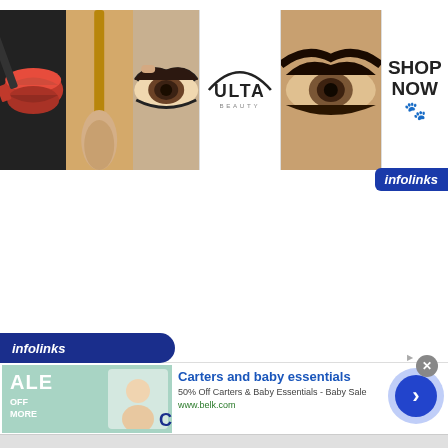[Figure (photo): Ulta Beauty banner ad with panels: red lips, makeup brush, eye with eyeliner, Ulta Beauty logo, smoky eye closeup, Shop Now call-to-action]
[Figure (logo): infolinks logo badge top right]
[Figure (infographic): infolinks bar at bottom left]
[Figure (photo): Carters and baby essentials advertisement with baby sale image, light teal background, showing partial text ALE OFF MORE]
Carters and baby essentials
50% Off Carters & Baby Essentials - Baby Sale
www.belk.com